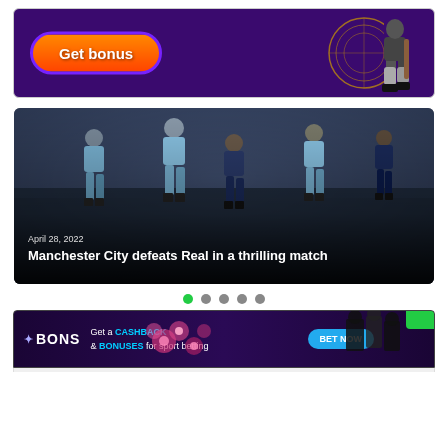[Figure (illustration): Purple casino/betting advertisement banner with orange 'Get bonus' button on the left and a cricket player silhouette on the right with decorative golden design elements]
[Figure (photo): Football/soccer match photo showing Manchester City players in light blue jerseys competing against Real Madrid players in dark jerseys, crowded stadium in background. Date label 'April 28, 2022' and headline 'Manchester City defeats Real in a thrilling match' overlaid at bottom]
April 28, 2022
Manchester City defeats Real in a thrilling match
[Figure (illustration): Carousel pagination dots: 5 dots, first one green (active), rest grey]
[Figure (illustration): BONS betting advertisement banner: purple/dark background with pink flowers, BONS logo, text 'Get a CASHBACK & BONUSES for sport betting', cyan 'BET NOW' button, silhouettes of sport players on the right, green tab in top-right corner]